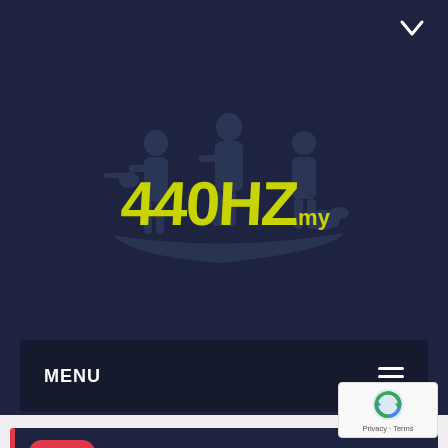[Figure (logo): 440Hz.my music website logo with yellow stylized text and silhouettes of band musicians on dark navy background]
MENU ≡
News
EBS lures bassists with new tools